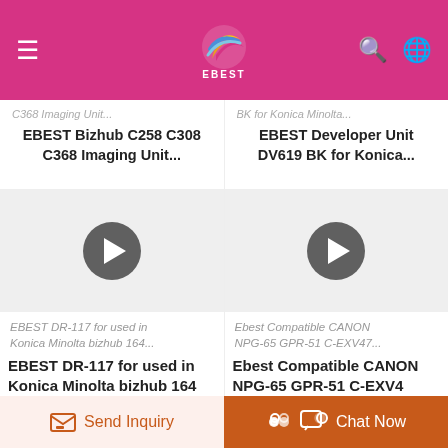EBEST navigation bar with logo, hamburger menu, search and language icons
C368 Imaging Unit...
BK for Konica Minolta...
EBEST Bizhub C258 C308 C368 Imaging Unit...
EBEST Developer Unit DV619 BK for Konica...
[Figure (other): Video thumbnail with play button for EBEST DR-117 product]
EBEST DR-117 for used in Konica Minolta bizhub 164...
EBEST DR-117 for used in Konica Minolta bizhub 164
[Figure (other): Video thumbnail with play button for Ebest Compatible CANON NPG-65 GPR-51 C-EXV47 product]
Ebest Compatible CANON NPG-65 GPR-51 C-EXV47...
Ebest Compatible CANON NPG-65 GPR-51 C-EXV4
Send Inquiry
Chat Now